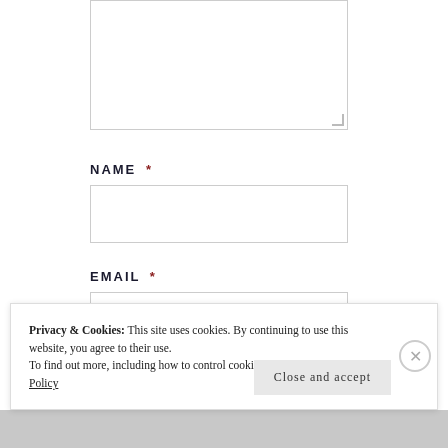[Figure (screenshot): Textarea input box at top of form]
NAME *
[Figure (screenshot): Name input field box]
EMAIL *
[Figure (screenshot): Email input field box]
WEBSITE
Privacy & Cookies: This site uses cookies. By continuing to use this website, you agree to their use.
To find out more, including how to control cookies, see here: Cookie Policy
Close and accept